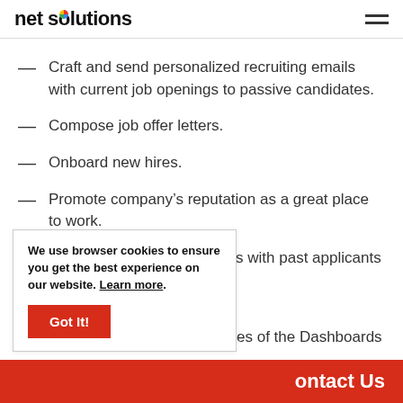net solutions
Craft and send personalized recruiting emails with current job openings to passive candidates.
Compose job offer letters.
Onboard new hires.
Promote company's reputation as a great place to work.
[partially obscured] ...ationships with past applicants & ...s.
[partially obscured] ...ely updates of the Dashboards
We use browser cookies to ensure you get the best experience on our website. Learn more. Got It!
Contact Us